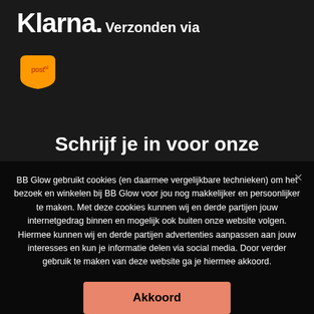Klarna.
Verzonden via
[Figure (logo): PostNL orange logo]
Schrijf je in voor onze
BB Glow gebruikt cookies (en daarmee vergelijkbare technieken) om het bezoek en winkelen bij BB Glow voor jou nog makkelijker en persoonlijker te maken. Met deze cookies kunnen wij en derde partijen jouw internetgedrag binnen en mogelijk ook buiten onze website volgen. Hiermee kunnen wij en derde partijen advertenties aanpassen aan jouw interesses en kun je informatie delen via social media. Door verder gebruik te maken van deze website ga je hiermee akkoord.
Akkoord